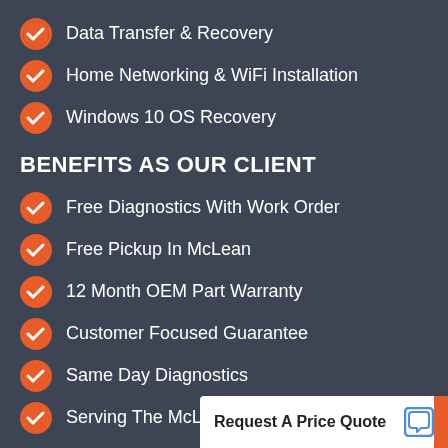Data Transfer & Recovery
Home Networking & WiFi Installation
Windows 10 OS Recovery
BENEFITS AS OUR CLIENT
Free Diagnostics With Work Order
Free Pickup In McLean
12 Month OEM Part Warranty
Customer Focused Guarantee
Same Day Diagnostics
Serving The McLean
Request A Price Quote